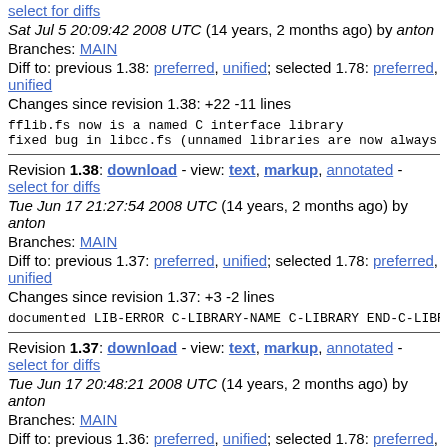select for diffs
Sat Jul 5 20:09:42 2008 UTC (14 years, 2 months ago) by anton
Branches: MAIN
Diff to: previous 1.38: preferred, unified; selected 1.78: preferred, unified
Changes since revision 1.38: +22 -11 lines
fflib.fs now is a named C interface library
fixed bug in libcc.fs (unnamed libraries are now always r
Revision 1.38: download - view: text, markup, annotated - select for diffs
Tue Jun 17 21:27:54 2008 UTC (14 years, 2 months ago) by anton
Branches: MAIN
Diff to: previous 1.37: preferred, unified; selected 1.78: preferred, unified
Changes since revision 1.37: +3 -2 lines
documented LIB-ERROR C-LIBRARY-NAME C-LIBRARY END-C-LIBRA
Revision 1.37: download - view: text, markup, annotated - select for diffs
Tue Jun 17 20:48:21 2008 UTC (14 years, 2 months ago) by anton
Branches: MAIN
Diff to: previous 1.36: preferred, unified; selected 1.78: preferred, unified